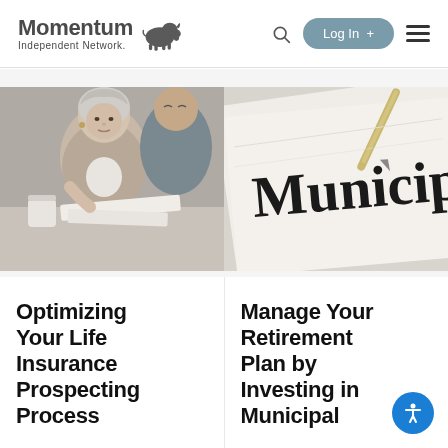Momentum Independent Network — Log In
[Figure (photo): Older woman with short white hair reviewing documents with a man, sitting at a table with a coffee cup]
[Figure (photo): Close-up of a document with large text reading 'Municipal B...' (Municipal Bond), with a pen visible]
Optimizing Your Life Insurance Prospecting Process
Manage Your Retirement Plan by Investing in Municipal